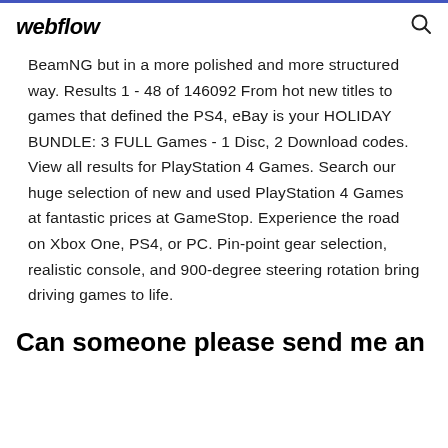webflow
BeamNG but in a more polished and more structured way. Results 1 - 48 of 146092 From hot new titles to games that defined the PS4, eBay is your HOLIDAY BUNDLE: 3 FULL Games - 1 Disc, 2 Download codes. View all results for PlayStation 4 Games. Search our huge selection of new and used PlayStation 4 Games at fantastic prices at GameStop. Experience the road on Xbox One, PS4, or PC. Pin-point gear selection, realistic console, and 900-degree steering rotation bring driving games to life.
Can someone please send me an